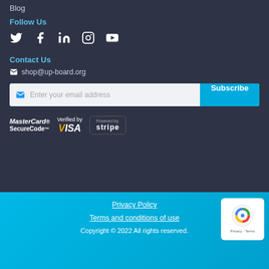Blog
Follow Us
[Figure (infographic): Social media icons: Twitter, Facebook, LinkedIn, Instagram, YouTube — white icons on dark background]
Contact Us
shop@up-board.org
Enter your email address  [Subscribe]
[Figure (infographic): Payment logos: MasterCard SecureCode, Verified by VISA, Powered by Stripe]
Privacy Policy
Terms and conditions of use
Copyright © 2022 All rights reserved.
[Figure (logo): reCAPTCHA badge with Google reCAPTCHA icon, Privacy and Terms text]